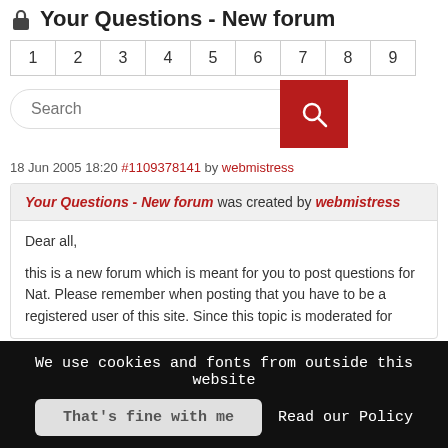Your Questions - New forum
1 2 3 4 5 6 7 8 9
[Figure (screenshot): Search bar with red search button]
18 Jun 2005 18:20 #1109378141 by webmistress
Your Questions - New forum was created by webmistress
Dear all,
this is a new forum which is meant for you to post questions for Nat. Please remember when posting that you have to be a registered user of this site. Since this topic is moderated for
We use cookies and fonts from outside this website | That's fine with me | Read our Policy